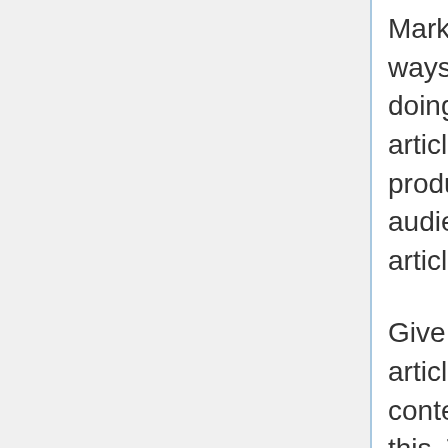Marketing with articles is among the easiest ways that a business can promote itself. By doing something as simple as creating an article, a company could make its services and products accessible to a bigger target audience. Use the guidance in the following article in order to use marketing with articles.
Give your readers a method to discuss your articles. If an individual appreciates your site content and wants to share it, you should let this. The more person information shares you might have, the more your blog generally seems to the search engines. Sharing may also greatly increase visitors, by permitting those who might not exactly search for you, to see your information anyhow.